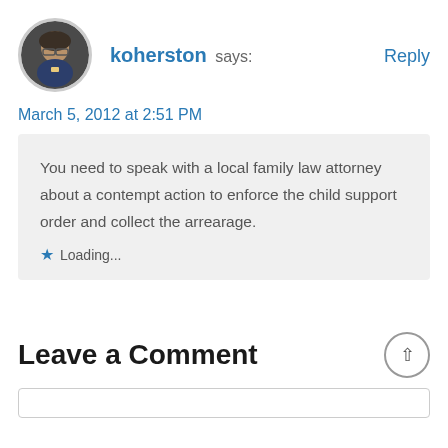koherston says:
Reply
March 5, 2012 at 2:51 PM
You need to speak with a local family law attorney about a contempt action to enforce the child support order and collect the arrearage.
Loading...
Leave a Comment